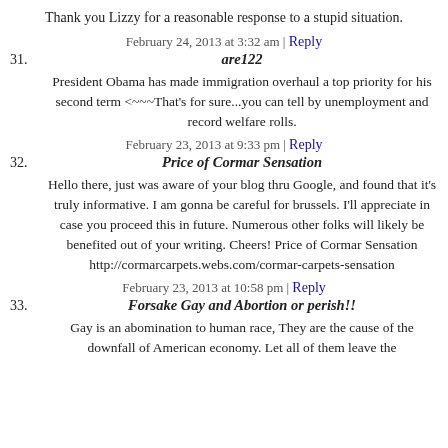Thank you Lizzy for a reasonable response to a stupid situation.
February 24, 2013 at 3:32 am | Reply
31. are122
President Obama has made immigration overhaul a top priority for his second term <~~~That's for sure...you can tell by unemployment and record welfare rolls.
February 23, 2013 at 9:33 pm | Reply
32. Price of Cormar Sensation
Hello there, just was aware of your blog thru Google, and found that it's truly informative. I am gonna be careful for brussels. I'll appreciate in case you proceed this in future. Numerous other folks will likely be benefited out of your writing. Cheers! Price of Cormar Sensation http://cormarcarpets.webs.com/cormar-carpets-sensation
February 23, 2013 at 10:58 pm | Reply
33. Forsake Gay and Abortion or perish!!
Gay is an abomination to human race, They are the cause of the downfall of American economy. Let all of them leave the